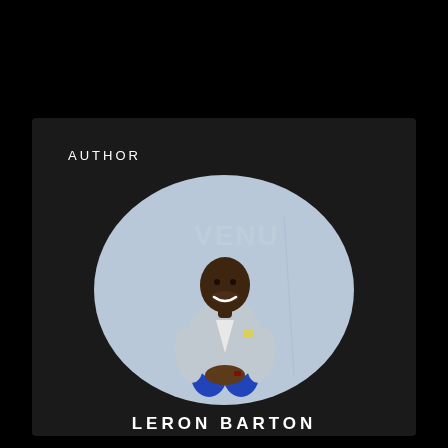AUTHOR
[Figure (photo): Author photo of Leron Barton, a smiling man in a grey blazer and blue pants seated on a stool, shown in an oval-shaped frame against a light blue/grey wall background.]
LERON BARTON